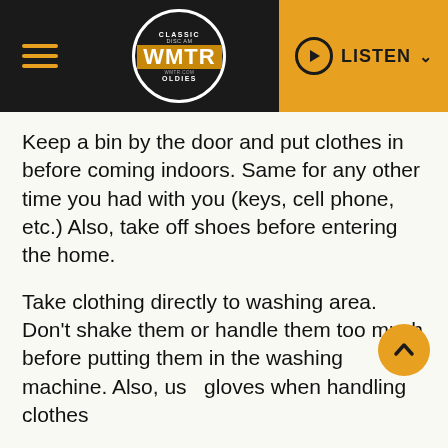Classic Oldies WMTR — LISTEN
Keep a bin by the door and put clothes in before coming indoors. Same for any other time you had with you (keys, cell phone, etc.) Also, take off shoes before entering the home.
Take clothing directly to washing area. Don't shake them or handle them too much before putting them in the washing machine. Also, use gloves when handling clothes
Regularly disinfect surfaces like computers, doorknobs, tables, remotes, and light switches.